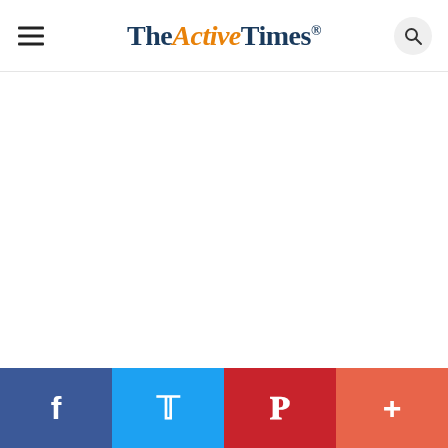TheActiveTimes
[Figure (photo): Large white/blank image area representing a photo placeholder on the page]
iStock
Racing down an active volcano at 25-30 miles
[Figure (other): Social sharing bar with Facebook, Twitter, Pinterest, and Add (+) buttons]